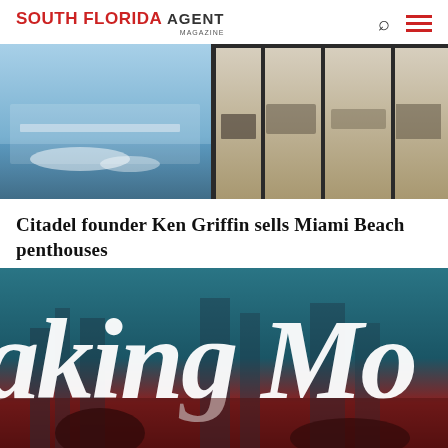SOUTH FLORIDA AGENT MAGAZINE
[Figure (photo): Luxury penthouse terrace with pool and ocean view on the left, modern interior living space on the right]
Citadel founder Ken Griffin sells Miami Beach penthouses
[Figure (photo): Magazine cover or article image with large white cursive script text reading 'aking Mo' over a teal and dark red city background]